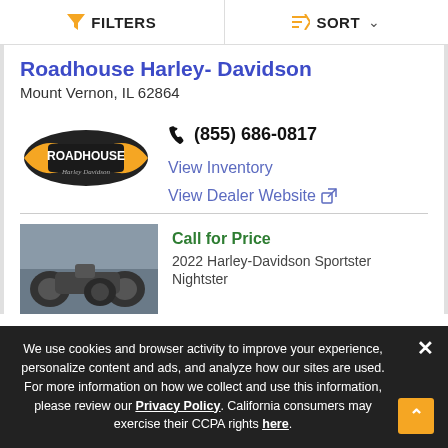FILTERS   SORT
Roadhouse Harley- Davidson
Mount Vernon, IL 62864
[Figure (logo): Roadhouse Harley-Davidson dealer logo with orange wings]
(855) 686-0817
View Inventory
View Dealer Website
[Figure (photo): Photo of motorcycles in a dealer showroom]
Call for Price
2022 Harley-Davidson Sportster Nightster
We use cookies and browser activity to improve your experience, personalize content and ads, and analyze how our sites are used. For more information on how we collect and use this information, please review our Privacy Policy. California consumers may exercise their CCPA rights here.